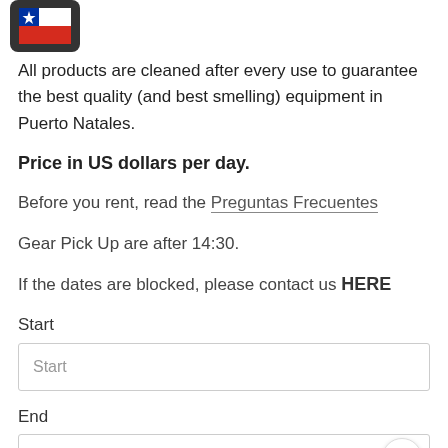[Figure (logo): Chilean flag icon in a dark rounded rectangle]
All products are cleaned after every use to guarantee the best quality (and best smelling) equipment in Puerto Natales.
Price in US dollars per day.
Before you rent, read the Preguntas Frecuentes
Gear Pick Up are after 14:30.
If the dates are blocked, please contact us HERE
Start
Start
End
End